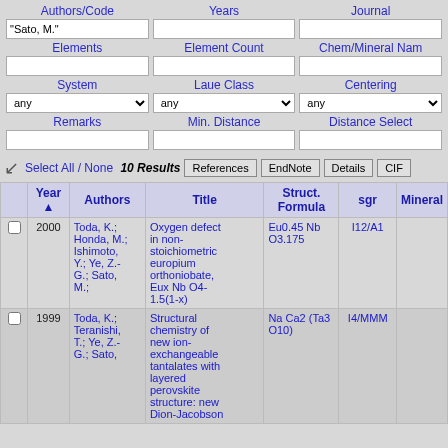Authors/Code
Years
Journal
"Sato, M."
Elements
Element Count
Chem/Mineral Nam
System
Laue Class
Centering
Remarks
Min. Distance
Distance Select
Select All / None 10 Results
|  | Year ▲ | Authors | Title | Struct. Formula | sgr | Mineral |
| --- | --- | --- | --- | --- | --- | --- |
| ☐ | 2000 | Toda, K.; Honda, M.; Ishimoto, Y.; Ye, Z.-G.; Sato, M.; | Oxygen defect in non-stoichiometric europium orthoniobate, Eux Nb O4-1.5(1-x) | Eu0.45 Nb O3.175 | I12/A1 |  |
| ☐ | 1999 | Toda, K.; Teranishi, T.; Ye, Z.-G.; Sato, | Structural chemistry of new ion-exchangeable tantalates with layered perovskite structure: new Dion-Jacobson | Na Ca2 (Ta3 O10) | I4/MMM |  |